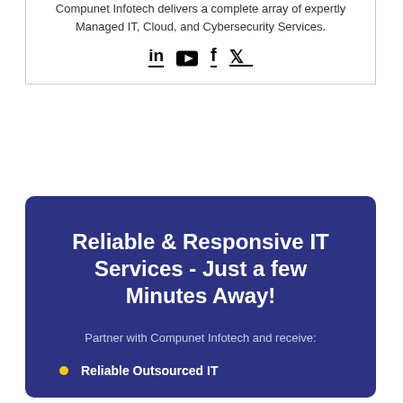Compunet Infotech delivers a complete array of expertly Managed IT, Cloud, and Cybersecurity Services.
[Figure (illustration): Social media icons: LinkedIn, YouTube, Facebook, Twitter arranged horizontally]
Reliable & Responsive IT Services - Just a few Minutes Away!
Partner with Compunet Infotech and receive:
Reliable Outsourced IT